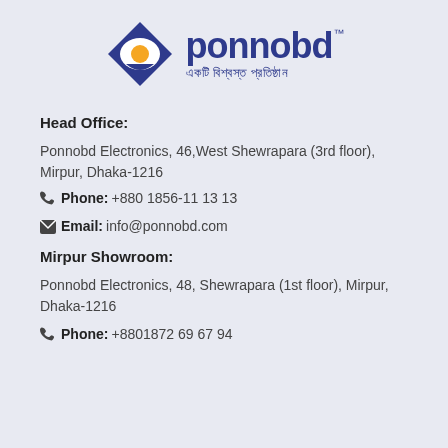[Figure (logo): Ponnobd Electronics logo with diamond/eye shape icon in navy blue with orange circle, brand name 'ponnobd' in navy blue bold text with TM mark, tagline in Bengali script 'একটি বিশ্বস্ত প্রতিষ্ঠান']
Head Office:
Ponnobd Electronics, 46,West Shewrapara (3rd floor), Mirpur, Dhaka-1216
📞Phone:+880 1856-11 13 13
✉Email:info@ponnobd.com
Mirpur Showroom:
Ponnobd Electronics, 48, Shewrapara (1st floor), Mirpur, Dhaka-1216
📞Phone:+8801872 69 67 94